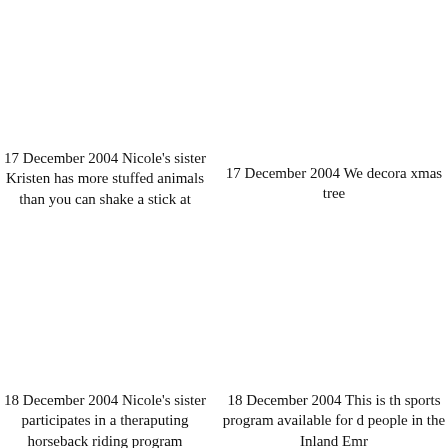17 December 2004 Nicole's sister Kristen has more stuffed animals than you can shake a stick at
17 December 2004 We decora xmas tree
18 December 2004 Nicole's sister participates in a theraputing horseback riding program
18 December 2004 This is th sports program available for d people in the Inland Emr